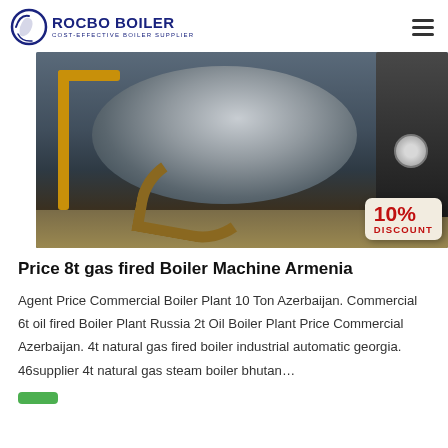ROCBO BOILER - COST-EFFECTIVE BOILER SUPPLIER
[Figure (photo): Industrial gas-fired boiler in a factory setting, with yellow piping, flexible hose, and a dark control panel unit on the right. A '10% DISCOUNT' badge is overlaid in the bottom right corner.]
Price 8t gas fired Boiler Machine Armenia
Agent Price Commercial Boiler Plant 10 Ton Azerbaijan. Commercial 6t oil fired Boiler Plant Russia 2t Oil Boiler Plant Price Commercial Azerbaijan. 4t natural gas fired boiler industrial automatic georgia. 46supplier 4t natural gas steam boiler bhutan…